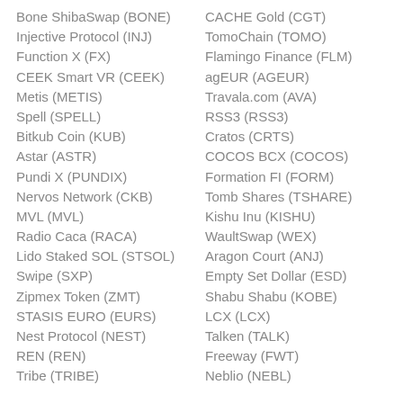Bone ShibaSwap (BONE)
Injective Protocol (INJ)
Function X (FX)
CEEK Smart VR (CEEK)
Metis (METIS)
Spell (SPELL)
Bitkub Coin (KUB)
Astar (ASTR)
Pundi X (PUNDIX)
Nervos Network (CKB)
MVL (MVL)
Radio Caca (RACA)
Lido Staked SOL (STSOL)
Swipe (SXP)
Zipmex Token (ZMT)
STASIS EURO (EURS)
Nest Protocol (NEST)
REN (REN)
Tribe (TRIBE)
CACHE Gold (CGT)
TomoChain (TOMO)
Flamingo Finance (FLM)
agEUR (AGEUR)
Travala.com (AVA)
RSS3 (RSS3)
Cratos (CRTS)
COCOS BCX (COCOS)
Formation FI (FORM)
Tomb Shares (TSHARE)
Kishu Inu (KISHU)
WaultSwap (WEX)
Aragon Court (ANJ)
Empty Set Dollar (ESD)
Shabu Shabu (KOBE)
LCX (LCX)
Talken (TALK)
Freeway (FWT)
Neblio (NEBL)